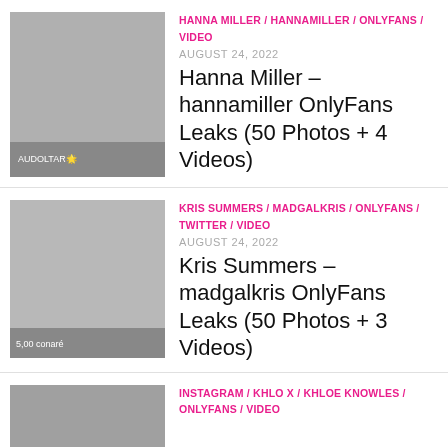[Figure (photo): Thumbnail image for Hanna Miller entry]
HANNA MILLER / HANNAMILLER / ONLYFANS / VIDEO
AUGUST 24, 2022
Hanna Miller – hannamiller OnlyFans Leaks (50 Photos + 4 Videos)
[Figure (photo): Thumbnail image for Kris Summers entry]
KRIS SUMMERS / MADGALKRIS / ONLYFANS / TWITTER / VIDEO
AUGUST 24, 2022
Kris Summers – madgalkris OnlyFans Leaks (50 Photos + 3 Videos)
[Figure (photo): Thumbnail image for third entry]
INSTAGRAM / KHLO X / KHLOE KNOWLES / ONLYFANS / VIDEO